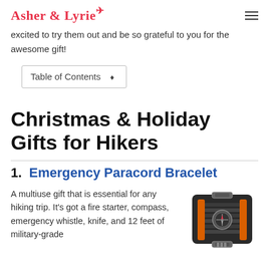Asher & Lyrie (logo with hamburger menu)
excited to try them out and be so grateful to you for the awesome gift!
Table of Contents ⬧
Christmas & Holiday Gifts for Hikers
1. Emergency Paracord Bracelet
A multiuse gift that is essential for any hiking trip. It's got a fire starter, compass, emergency whistle, knife, and 12 feet of military-grade
[Figure (photo): Photo of an emergency paracord bracelet in black and orange colors with compass and fire starter tools attached]